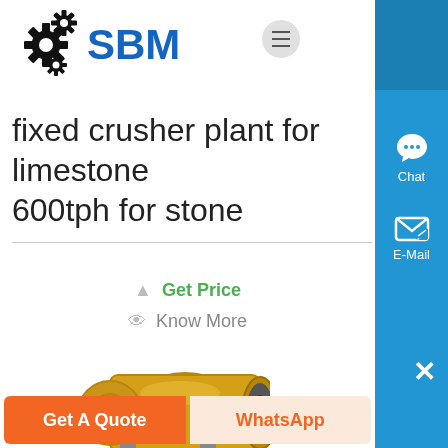SBM
fixed crusher plant for limestone 600tph for stone
Get Price
Know More
[Figure (photo): Yellow industrial ball mill / crusher machine]
Get A Quote
WhatsApp